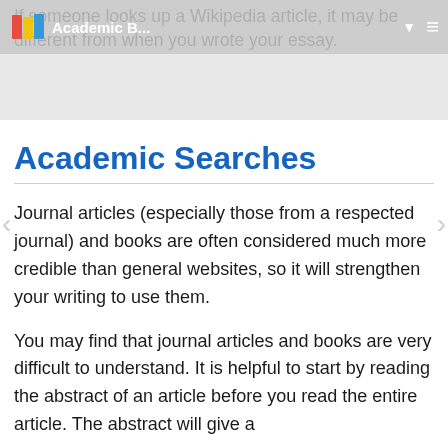If someone looks up a Wikipedia article, it may be different from when you wrote your essay.
Academic Searches
Journal articles (especially those from a respected journal) and books are often considered much more credible than general websites, so it will strengthen your writing to use them.
You may find that journal articles and books are very difficult to understand. It is helpful to start by reading the abstract of an article before you read the entire article. The abstract will give a